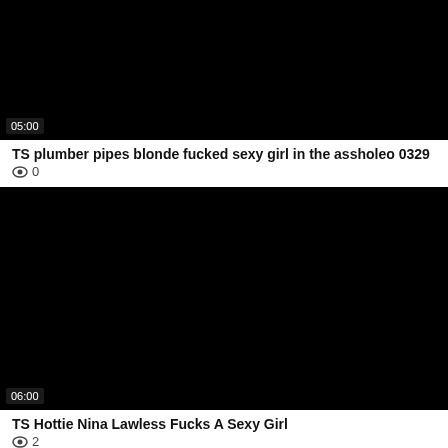[Figure (screenshot): Black video thumbnail with duration badge showing 05:00 in bottom-left corner]
TS plumber pipes blonde fucked sexy girl in the assholeo 0329
👁 0
[Figure (screenshot): Black video thumbnail with duration badge showing 06:00 in bottom-left corner]
TS Hottie Nina Lawless Fucks A Sexy Girl
👁 2